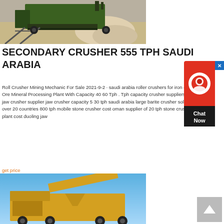[Figure (photo): Mining crusher machinery with green equipment and sandy/rocky material, viewed from the side at a quarry site.]
SECONDARY CRUSHER 555 TPH SAUDI ARABIA
Roll Crusher Mining Mechanic For Sale 2021-9-2 · saudi arabia roller crushers for iron ore. Ore Mineral Processing Plant With Capacity 40 60 Tph . Tph capacity crusher suppliers tags jaw crusher supplier jaw crusher capacity 5 30 tph saudi arabia large barite crusher sold to over 20 countries 800 tph mobile stone crusher cost oman supplier of 20 tph stone crusher plant cost duoling jaw
get price
[Figure (photo): Yellow mobile crushing/screening plant against a clear blue sky.]